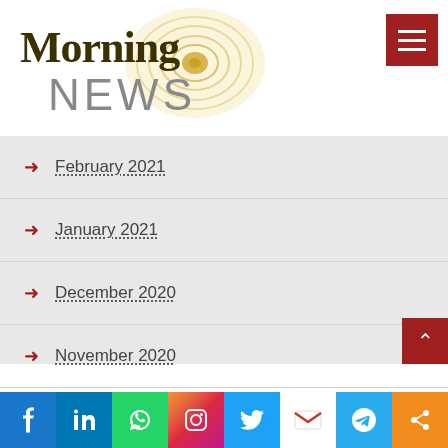[Figure (logo): Morning NEWS logo with golden concentric circles radiating behind the text. 'Morning' in dark olive/brown serif font, 'NEWS' in grey sans-serif.]
February 2021
January 2021
December 2020
November 2020
October 2020
September 2020
[Figure (infographic): Social sharing bar at the bottom with icons for Facebook, LinkedIn, WhatsApp, Instagram, Twitter, Gmail, Telegram, and Share.]